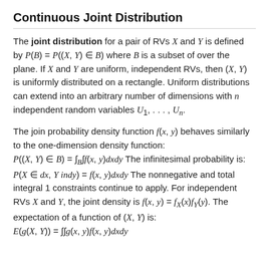Continuous Joint Distribution
The joint distribution for a pair of RVs X and Y is defined by P(B) = P((X, Y) ∈ B) where B is a subset of over the plane. If X and Y are uniform, independent RVs, then (X, Y) is uniformly distributed on a rectangle. Uniform distributions can extend into an arbitrary number of dimensions with n independent random variables U₁, . . . , Uₙ.
The join probability density function f(x, y) behaves similarly to the one-dimension density function: P((X, Y) ∈ B) = ∫_B∫f(x, y)dxdy The infinitesimal probability is: P(X ∈ dx, Y indy) = f(x, y)dxdy The nonnegative and total integral 1 constraints continue to apply. For independent RVs X and Y, the joint density is f(x, y) = fₓ(x)f_Y(y). The expectation of a function of (X, Y) is: E(g(X, Y)) = ∫∫g(x, y)f(x, y)dxdy